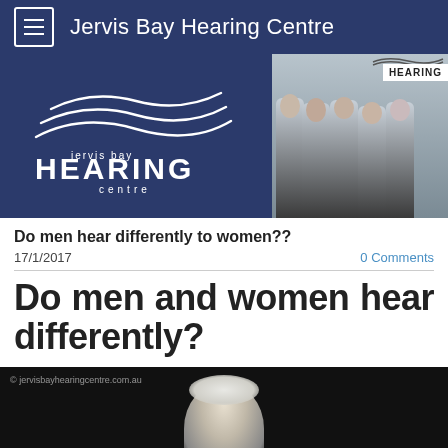Jervis Bay Hearing Centre
[Figure (photo): Banner split image: left side shows Jervis Bay Hearing Centre logo (white waves and text on dark blue background); right side shows a team photo of five staff members in light blue shirts standing in front of a 'HEARING' sign.]
Do men hear differently to women??
17/1/2017
0 Comments
Do men and women hear differently?
[Figure (photo): Photo of an elderly person with white hair against a dark background. Watermark reads: © jervisbayhearingcentre.com.au]